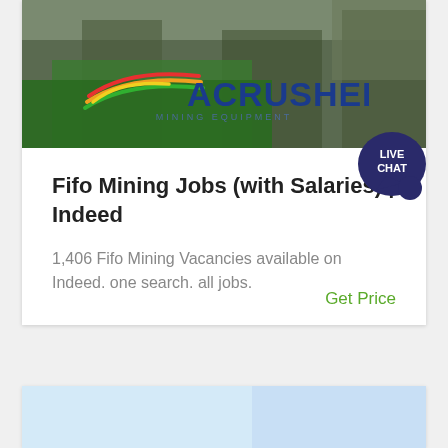[Figure (logo): ACRUSHER Mining Equipment banner logo with colorful rainbow stripes (red, yellow, green) and blue bold text on a dark green/brown outdoor background]
Fifo Mining Jobs (with Salaries) | Indeed
1,406 Fifo Mining Vacancies available on Indeed. one search. all jobs.
Get Price
[Figure (screenshot): Bottom partial card with light blue gradient background, partially visible]